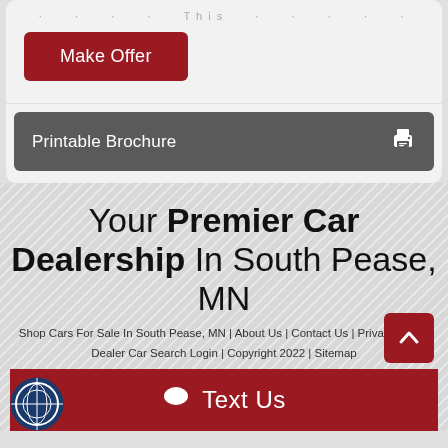· · · · This · · · · ·
Make Offer
Printable Brochure
Your Premier Car Dealership In South Pease, MN
Shop Cars For Sale In South Pease, MN | About Us | Contact Us | Privacy Policy Dealer Car Search Login | Copyright 2022 | Sitemap
Text Us